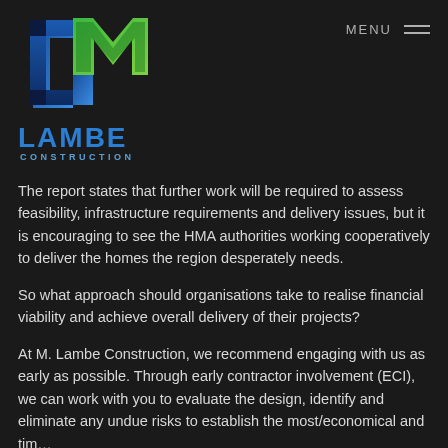[Figure (logo): M. Lambe Construction logo — 3D geometric M/C shape in blue and green above the text LAMBE CONSTRUCTION]
The report states that further work will be required to assess feasibility, infrastructure requirements and delivery issues, but it is encouraging to see the HMA authorities working cooperatively to deliver the homes the region desperately needs.
So what approach should organisations take to realise financial viability and achieve overall delivery of their projects?
At M. Lambe Construction, we recommend engaging with us as early as possible. Through early contractor involvement (ECI), we can work with you to evaluate the design, identify and eliminate any undue risks to establish the most/economical and tim…